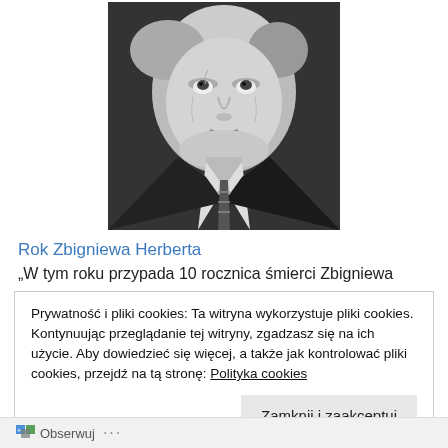[Figure (photo): Black and white portrait photo of an elderly man looking upward, wearing a dark jacket and striped tie]
Rok Zbigniewa Herberta
„W tym roku przypada 10 rocznica śmierci Zbigniewa
Prywatność i pliki cookies: Ta witryna wykorzystuje pliki cookies. Kontynuując przeglądanie tej witryny, zgadzasz się na ich użycie. Aby dowiedzieć się więcej, a także jak kontrolować pliki cookies, przejdź na tą stronę: Polityka cookies
Zamknij i zaakceptuj
Obserwuj ...